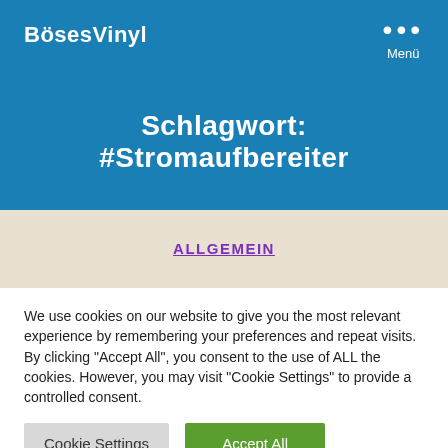BösesVinyl
Schlagwort: #Stromaufbereiter
ALLGEMEIN
We use cookies on our website to give you the most relevant experience by remembering your preferences and repeat visits. By clicking "Accept All", you consent to the use of ALL the cookies. However, you may visit "Cookie Settings" to provide a controlled consent.
Cookie Settings | Accept All